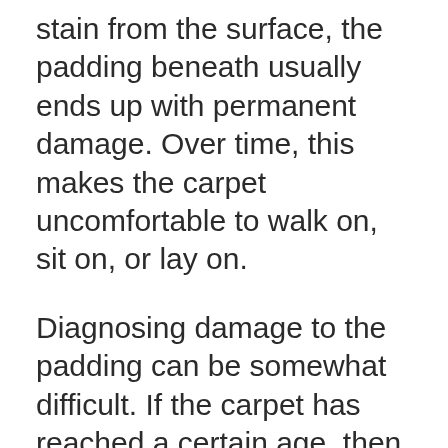stain from the surface, the padding beneath usually ends up with permanent damage. Over time, this makes the carpet uncomfortable to walk on, sit on, or lay on.
Diagnosing damage to the padding can be somewhat difficult. If the carpet has reached a certain age, then you can hire a professional to inspect the carpet and the padding beneath it. They will let you know if it is damaged and if it can be repaired. If the damage is too severe, then your best option is to have the carpet replaced.